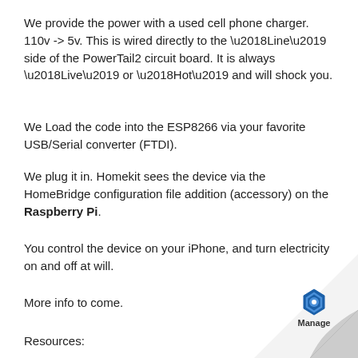We provide the power with a used cell phone charger. 110v -> 5v. This is wired directly to the ‘Line’ side of the PowerTail2 circuit board. It is always ‘Live’ or ‘Hot’ and will shock you.
We Load the code into the ESP8266 via your favorite USB/Serial converter (FTDI).
We plug it in. Homekit sees the device via the HomeBridge configuration file addition (accessory) on the Raspberry Pi.
You control the device on your iPhone, and turn electricity on and off at will.
More info to come.
Resources:
[Figure (logo): Page corner fold with blue hexagonal logo and 'Manage' text]